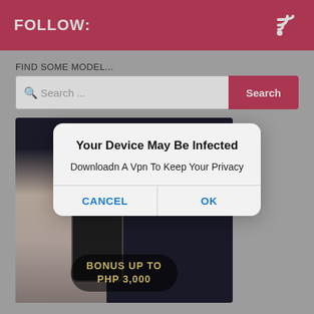FOLLOW:
FIND SOME MODEL...
Search ...
[Figure (screenshot): Advertisement banner showing a woman in white dress, mobile phone, '100% LICENSED BY:' badge, and 'BONUS UP TO PHP 3,000' pill button on dark background with watermarked text]
Your Device May Be Infected
Downloadn A Vpn To Keep Your Privacy
CANCEL
OK